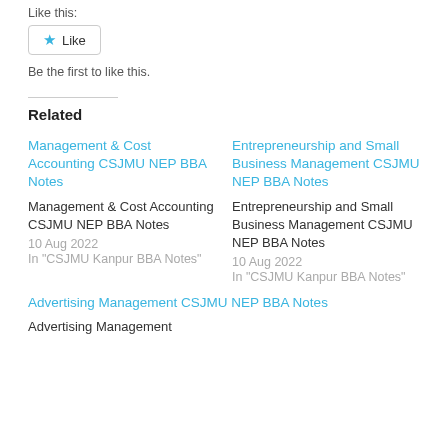Like this:
Like
Be the first to like this.
Related
Management & Cost Accounting CSJMU NEP BBA Notes
Management & Cost Accounting CSJMU NEP BBA Notes
10 Aug 2022
In "CSJMU Kanpur BBA Notes"
Entrepreneurship and Small Business Management CSJMU NEP BBA Notes
Entrepreneurship and Small Business Management CSJMU NEP BBA Notes
10 Aug 2022
In "CSJMU Kanpur BBA Notes"
Advertising Management CSJMU NEP BBA Notes
Advertising Management